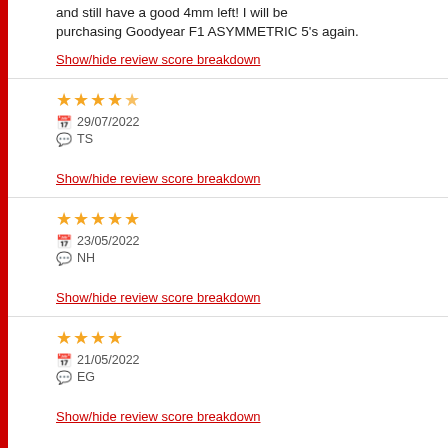and still have a good 4mm left! I will be purchasing Goodyear F1 ASYMMETRIC 5's again.
Show/hide review score breakdown
★★★★½ 29/07/2022 TS
Show/hide review score breakdown
★★★★★ 23/05/2022 NH
Show/hide review score breakdown
★★★★ 21/05/2022 EG
Show/hide review score breakdown